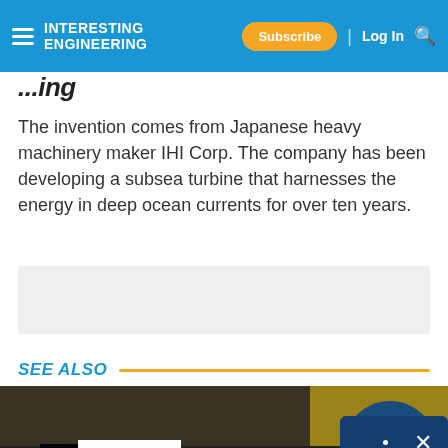INTERESTING ENGINEERING — Subscribe | Log In
...ing
The invention comes from Japanese heavy machinery maker IHI Corp. The company has been developing a subsea turbine that harnesses the energy in deep ocean currents for over ten years.
SEE ALSO
[Figure (photo): Industrial machinery photo showing mechanical equipment in a workshop with orange and blue components. Overlay shows 'Top Articles' badge with Interesting Engineering logo, three-dot menu, close button, and a play button in the center.]